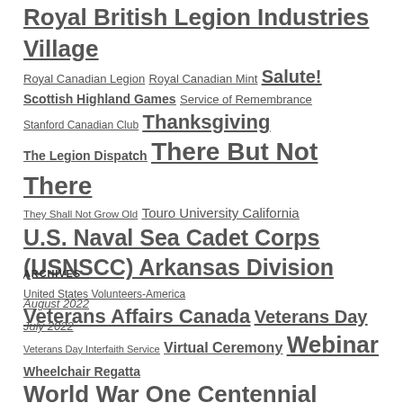Royal British Legion Industries Village
Royal Canadian Legion
Royal Canadian Mint
Salute!
Scottish Highland Games
Service of Remembrance
Stanford Canadian Club
Thanksgiving
The Legion Dispatch
There But Not There
They Shall Not Grow Old
Touro University California
U.S. Naval Sea Cadet Corps (USNSCC) Arkansas Division
United States Volunteers-America
Veterans Affairs Canada
Veterans Day
Veterans Day Interfaith Service
Virtual Ceremony
Webinar
Wheelchair Regatta
World War One Centennial Commission
World War One Historical Association
Wreaths Across America
ARCHIVES
August 2022
July 2022